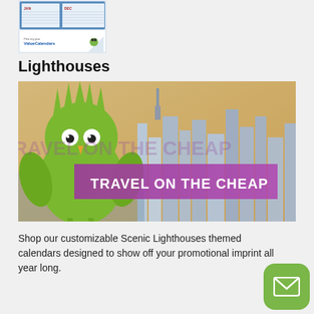[Figure (photo): Calendar product thumbnail showing a two-month wall calendar with ValueCalendars branding]
Lighthouses
[Figure (photo): Banner image showing the Statue of Liberty mascot (green owl/bird character with liberty crown) against a New York City skyline background at sunset, with a purple banner reading 'TRAVEL ON THE CHEAP']
Shop our customizable Scenic Lighthouses themed calendars designed to show off your promotional imprint all year long.
View Products